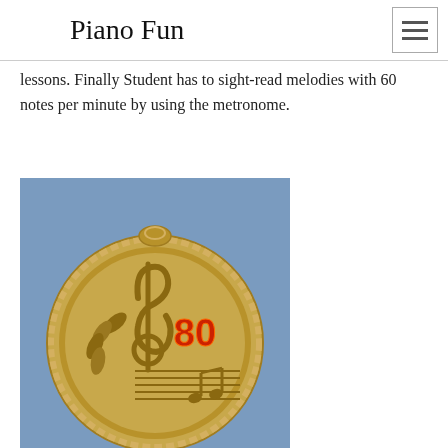Piano Fun
lessons. Finally Student has to sight-read melodies with 60 notes per minute by using the metronome.
[Figure (photo): A gold medal with a treble clef and musical notes engraved on it, with the number 80 in red text displayed on the face of the medal, against a blue fabric background.]